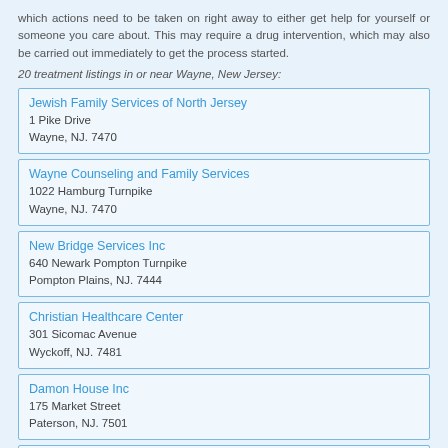which actions need to be taken on right away to either get help for yourself or someone you care about. This may require a drug intervention, which may also be carried out immediately to get the process started.
20 treatment listings in or near Wayne, New Jersey:
Jewish Family Services of North Jersey
1 Pike Drive
Wayne, NJ. 7470
Wayne Counseling and Family Services
1022 Hamburg Turnpike
Wayne, NJ. 7470
New Bridge Services Inc
640 Newark Pompton Turnpike
Pompton Plains, NJ. 7444
Christian Healthcare Center
301 Sicomac Avenue
Wyckoff, NJ. 7481
Damon House Inc
175 Market Street
Paterson, NJ. 7501
Options Counseling Center
9 West Broadway